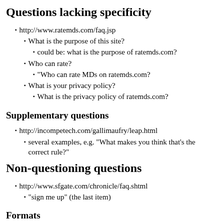Questions lacking specificity
http://www.ratemds.com/faq.jsp
What is the purpose of this site?
could be: what is the purpose of ratemds.com?
Who can rate?
"Who can rate MDs on ratemds.com?
What is your privacy policy?
What is the privacy policy of ratemds.com?
Supplementary questions
http://incompetech.com/gallimaufry/leap.html
several examples, e.g. "What makes you think that's the correct rule?"
Non-questioning questions
http://www.sfgate.com/chronicle/faq.shtml
"sign me up" (the last item)
Formats